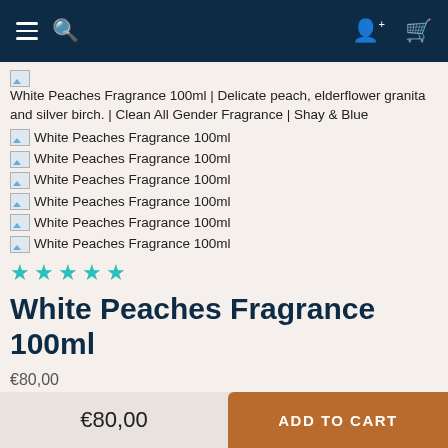[Figure (screenshot): Navigation bar with dark navy background, hamburger menu, search icon on left, user and cart icons on right]
White Peaches Fragrance 100ml | Delicate peach, elderflower granita and silver birch. | Clean All Gender Fragrance | Shay & Blue
White Peaches Fragrance 100ml
White Peaches Fragrance 100ml
White Peaches Fragrance 100ml
White Peaches Fragrance 100ml
White Peaches Fragrance 100ml
White Peaches Fragrance 100ml
White Peaches Fragrance 100ml
€80,00
€80,00  ADD TO CART